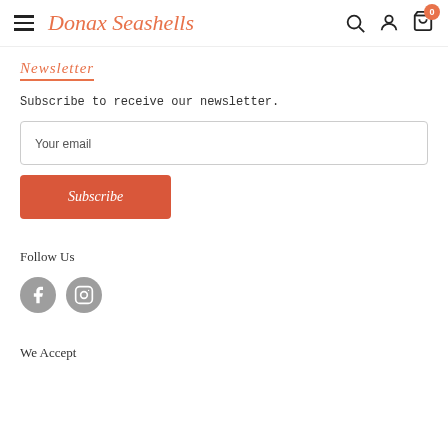Donax Seashells — navigation bar with hamburger menu, search, account, and cart (0 items)
Newsletter
Subscribe to receive our newsletter.
Your email
Subscribe
Follow Us
[Figure (illustration): Facebook and Instagram social media icon circles in grey]
We Accept